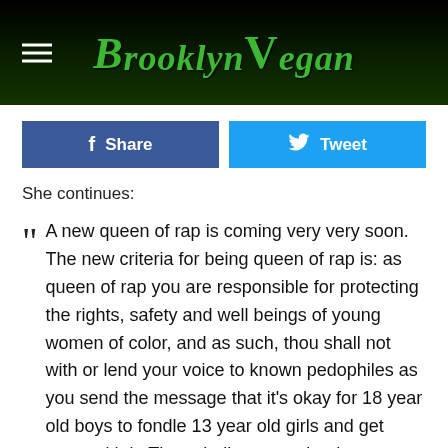BrooklynVegan
Share | Tweet
She continues:
A new queen of rap is coming very very soon. The new criteria for being queen of rap is: as queen of rap you are responsible for protecting the rights, safety and well beings of young women of color, and as such, thou shall not with or lend your voice to known pedophiles as you send the message that it's okay for 18 year old boys to fondle 13 year old girls and get away with it. Thou shall not ever be that